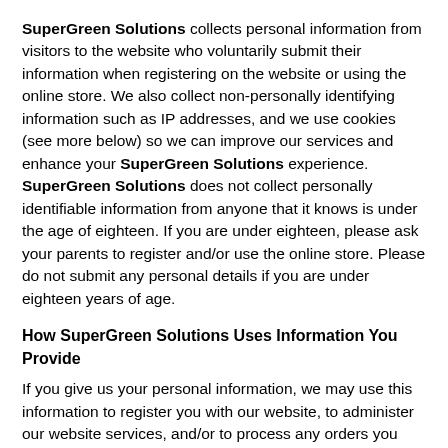SuperGreen Solutions collects personal information from visitors to the website who voluntarily submit their information when registering on the website or using the online store. We also collect non-personally identifying information such as IP addresses, and we use cookies (see more below) so we can improve our services and enhance your SuperGreen Solutions experience. SuperGreen Solutions does not collect personally identifiable information from anyone that it knows is under the age of eighteen. If you are under eighteen, please ask your parents to register and/or use the online store. Please do not submit any personal details if you are under eighteen years of age.
How SuperGreen Solutions Uses Information You Provide
If you give us your personal information, we may use this information to register you with our website, to administer our website services, and/or to process any orders you may place online. We will send you announcements or communications by e-mail only if you give us your permission to do so. You may opt out of receiving such communications by visiting our website and following the appropriate instructions. Otherwise, we use your information only to review our performance and to improve our services to you, or to communicate with you about your order...